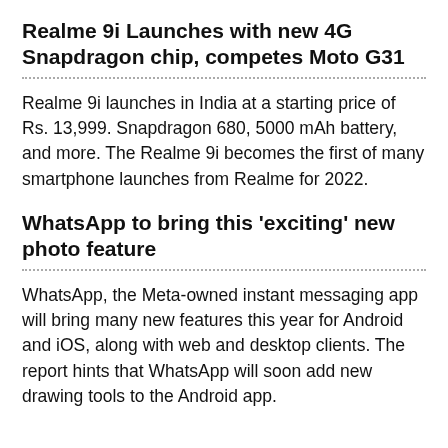Realme 9i Launches with new 4G Snapdragon chip, competes Moto G31
Realme 9i launches in India at a starting price of Rs. 13,999. Snapdragon 680, 5000 mAh battery, and more. The Realme 9i becomes the first of many smartphone launches from Realme for 2022.
WhatsApp to bring this 'exciting' new photo feature
WhatsApp, the Meta-owned instant messaging app will bring many new features this year for Android and iOS, along with web and desktop clients. The report hints that WhatsApp will soon add new drawing tools to the Android app.